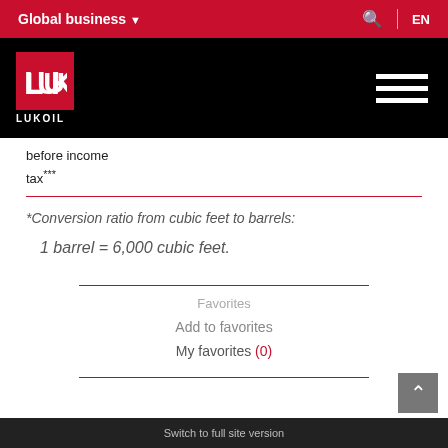Global business  EN
[Figure (logo): LUKOIL logo in red box with white LUK symbol and LUKOIL text below, on black header bar with hamburger menu icon]
before income tax***
*Conversion ratio from cubic feet to barrels:
1 barrel = 6,000 cubic feet.
Favorites
Add to favorites
My favorites (0)
Switch to full site version